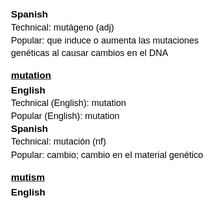Spanish
Technical: mutágeno (adj)
Popular: que induce o aumenta las mutaciones genéticas al causar cambios en el DNA
mutation
English
Technical (English): mutation
Popular (English): mutation
Spanish
Technical: mutación (nf)
Popular: cambio; cambio en el material genético
mutism
English